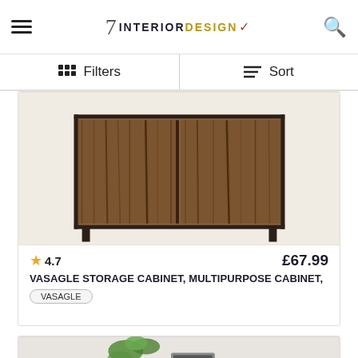7 INTERIOR DESIGN
Filters | Sort
[Figure (photo): VASAGLE rustic storage cabinet with dark metal frame and wooden panel doors]
★ 4.7    £67.99
VASAGLE STORAGE CABINET, MULTIPURPOSE CABINET,
VASAGLE
[Figure (photo): White modern bedside table/nightstand with open shelf, black cabinet door, and plant/decorative items on top]